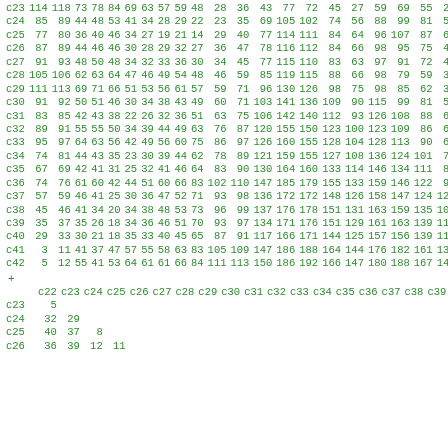|  | c1 | c2 | c3 | c4 | c5 | c6 | c7 | c8 | c9 | c10 | c11 | c12 | c13 | c14 | c15 | c16 | c17 | c18 | c19 | c20 |
| --- | --- | --- | --- | --- | --- | --- | --- | --- | --- | --- | --- | --- | --- | --- | --- | --- | --- | --- | --- | --- |
| c23 | 114 | 118 | 73 | 78 | 84 | 69 | 63 | 57 | 59 | 48 | 28 | 36 | 43 | 77 | 72 | 45 | 27 | 59 | 69 | 55 | 27 |
| c24 | 85 | 89 | 44 | 48 | 53 | 41 | 34 | 28 | 29 | 22 | 23 | 35 | 69 | 105 | 102 | 74 | 56 | 88 | 99 | 81 | 54 |
| c25 | 77 | 80 | 36 | 40 | 46 | 34 | 27 | 19 | 21 | 14 | 29 | 40 | 77 | 114 | 111 | 84 | 64 | 96 | 107 | 87 | 60 |
| c26 | 87 | 89 | 44 | 46 | 46 | 30 | 28 | 29 | 32 | 27 | 36 | 47 | 78 | 116 | 112 | 84 | 66 | 98 | 95 | 75 | 47 |
| c27 | 91 | 93 | 48 | 50 | 48 | 34 | 32 | 33 | 36 | 30 | 34 | 45 | 77 | 115 | 110 | 83 | 63 | 97 | 91 | 72 | 44 |
| c28 | 105 | 106 | 62 | 63 | 64 | 47 | 46 | 49 | 54 | 48 | 46 | 59 | 85 | 119 | 115 | 88 | 66 | 98 | 79 | 59 | 31 |
| c29 | 111 | 113 | 69 | 71 | 66 | 51 | 53 | 56 | 61 | 57 | 59 | 71 | 96 | 130 | 126 | 98 | 75 | 98 | 85 | 62 | 38 |
| c30 | 91 | 92 | 50 | 51 | 46 | 30 | 34 | 38 | 43 | 49 | 60 | 71 | 103 | 141 | 136 | 109 | 90 | 115 | 99 | 81 | 53 |
| c31 | 83 | 85 | 42 | 43 | 38 | 22 | 26 | 32 | 36 | 51 | 63 | 75 | 106 | 142 | 140 | 112 | 93 | 126 | 108 | 88 | 60 |
| c32 | 89 | 91 | 55 | 55 | 50 | 34 | 39 | 44 | 49 | 63 | 76 | 87 | 120 | 155 | 150 | 123 | 100 | 123 | 109 | 86 | 62 |
| c33 | 95 | 97 | 64 | 63 | 56 | 42 | 49 | 56 | 60 | 75 | 86 | 97 | 126 | 160 | 155 | 128 | 104 | 128 | 113 | 90 | 67 |
| c34 | 74 | 81 | 44 | 43 | 35 | 23 | 30 | 39 | 44 | 62 | 78 | 89 | 121 | 159 | 155 | 127 | 108 | 136 | 124 | 101 | 75 |
| c35 | 67 | 69 | 42 | 41 | 31 | 25 | 32 | 41 | 46 | 64 | 83 | 90 | 130 | 164 | 160 | 133 | 114 | 146 | 134 | 111 | 85 |
| c36 | 74 | 76 | 61 | 60 | 42 | 44 | 51 | 60 | 66 | 83 | 102 | 110 | 147 | 185 | 179 | 155 | 133 | 159 | 146 | 122 | 98 |
| c37 | 57 | 59 | 46 | 41 | 25 | 30 | 36 | 47 | 52 | 71 | 93 | 98 | 136 | 172 | 172 | 148 | 126 | 158 | 147 | 124 | 121 |
| c38 | 45 | 46 | 41 | 34 | 20 | 34 | 38 | 48 | 53 | 73 | 96 | 99 | 137 | 176 | 178 | 151 | 131 | 163 | 159 | 135 | 108 |
| c39 | 35 | 37 | 35 | 26 | 18 | 34 | 36 | 46 | 51 | 70 | 93 | 97 | 134 | 171 | 176 | 151 | 129 | 161 | 163 | 139 | 118 |
| c40 | 29 | 33 | 30 | 21 | 18 | 35 | 33 | 40 | 45 | 65 | 87 | 91 | 117 | 166 | 171 | 144 | 125 | 157 | 156 | 139 | 113 |
| c41 | 3 | 11 | 41 | 37 | 47 | 57 | 55 | 58 | 63 | 83 | 105 | 109 | 147 | 186 | 188 | 164 | 144 | 176 | 182 | 161 | 134 |
| c42 | 5 | 12 | 55 | 41 | 53 | 64 | 61 | 61 | 66 | 84 | 111 | 113 | 150 | 186 | 192 | 166 | 147 | 180 | 188 | 167 | 140 |
+
|  | c22 | c23 | c24 | c25 | c26 | c27 | c28 | c29 | c30 | c31 | c32 | c33 | c34 | c35 | c36 | c37 | c38 | c39 | c40 | c41 |
| --- | --- | --- | --- | --- | --- | --- | --- | --- | --- | --- | --- | --- | --- | --- | --- | --- | --- | --- | --- | --- |
| c23 | 5 |  |  |  |  |  |  |  |  |  |  |  |  |  |  |  |  |  |  |  |
| c24 | 32 | 29 |  |  |  |  |  |  |  |  |  |  |  |  |  |  |  |  |  |  |
| c25 | 40 | 37 | 8 |  |  |  |  |  |  |  |  |  |  |  |  |  |  |  |  |  |
| c26 | 36 | 39 | 12 | 11 |  |  |  |  |  |  |  |  |  |  |  |  |  |  |  |  |